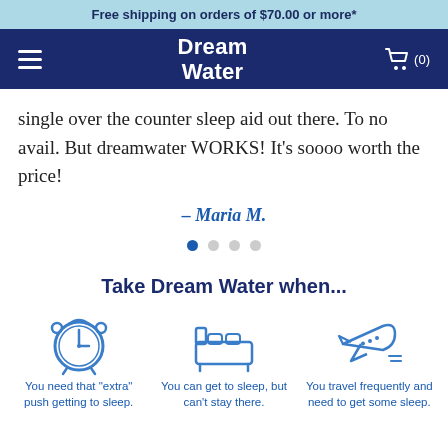Free shipping on orders of $70.00 or more*
[Figure (screenshot): Dream Water navigation bar with hamburger menu, Dream Water logo, and shopping cart icon showing (0) items]
single over the counter sleep aid out there. To no avail. But dreamwater WORKS! It's soooo worth the price!
– Maria M.
[Figure (other): Carousel navigation dots, 4 dots, first one active (filled blue)]
Take Dream Water when...
[Figure (infographic): Three icons: alarm clock, bed, airplane with labels below each]
You need that "extra" push getting to sleep.
You can get to sleep, but can't stay there.
You travel frequently and need to get some sleep.